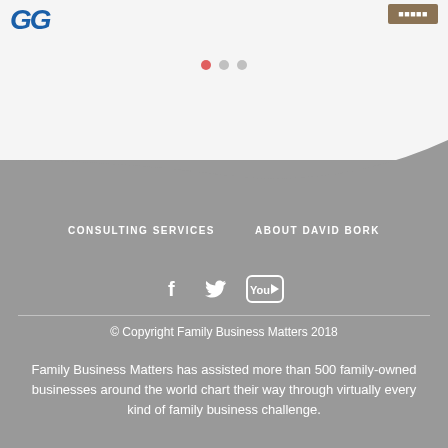GG
[Figure (illustration): Three pagination dots: one red/active, two gray/inactive]
[Figure (illustration): White wave curve SVG divider separating light top section from gray footer section]
CONSULTING SERVICES    ABOUT DAVID BORK
[Figure (illustration): Social media icons: Facebook, Twitter, YouTube in white]
© Copyright Family Business Matters 2018
Family Business Matters has assisted more than 500 family-owned businesses around the world chart their way through virtually every kind of family business challenge.